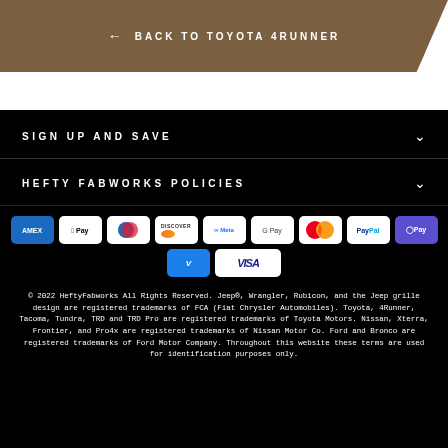← BACK TO TOYOTA 4RUNNER
SIGN UP AND SAVE
HEFTY FABWORKS POLICIES
[Figure (other): Payment method logos: AMEX, Apple Pay, Diners Club, Discover, Meta Pay, Google Pay, Mastercard, PayPal, OPay, Venmo, Visa]
© 2022 HeftyFabworks All Rights Reserved. Jeep®, Wrangler, Rubicon, and the Jeep grille design are registered trademarks of FCA (Fiat Chrysler Automobiles). Toyota, 4Runner, Tacoma, Tundra, TRD and TRD Pro are registered trademarks of Toyota Motors. Nissan, Xterra, Frontier, and Pro4x are registered trademarks of Nissan Motor Co. Ford and Bronco are registered trademarks of Ford Motor Company. Throughout this website these terms are used for identification purposes only.